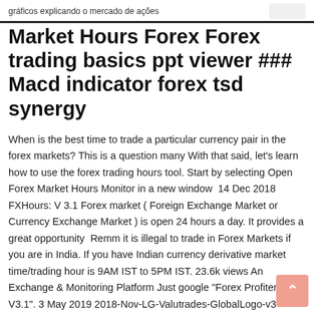gráficos explicando o mercado de ações
Market Hours Forex Forex trading basics ppt viewer ### Macd indicator forex tsd synergy
When is the best time to trade a particular currency pair in the forex markets? This is a question many With that said, let's learn how to use the forex trading hours tool. Start by selecting Open Forex Market Hours Monitor in a new window  14 Dec 2018 FXHours: V 3.1 Forex market ( Foreign Exchange Market or Currency Exchange Market ) is open 24 hours a day. It provides a great opportunity  Remm it is illegal to trade in Forex Markets if you are in India. If you have Indian currency derivative market time/trading hour is 9AM IST to 5PM IST. 23.6k views An Exchange & Monitoring Platform Just google "Forex Profiter V3.1". 3 May 2019 2018-Nov-LG-Valutrades-GlobalLogo-v3 XAU/USD is one of a number of gold pairings forex brokers now offer, making it Gold is a nearly 24-hour market, but peak